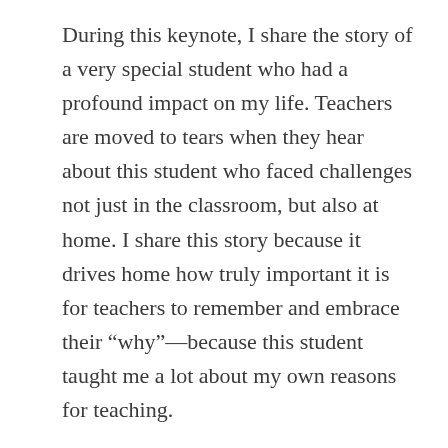During this keynote, I share the story of a very special student who had a profound impact on my life. Teachers are moved to tears when they hear about this student who faced challenges not just in the classroom, but also at home. I share this story because it drives home how truly important it is for teachers to remember and embrace their “why”—because this student taught me a lot about my own reasons for teaching.
I’m determined to help teachers rediscover their passion for teaching, but more than anything, I want them to reclaim their lives and stand proud